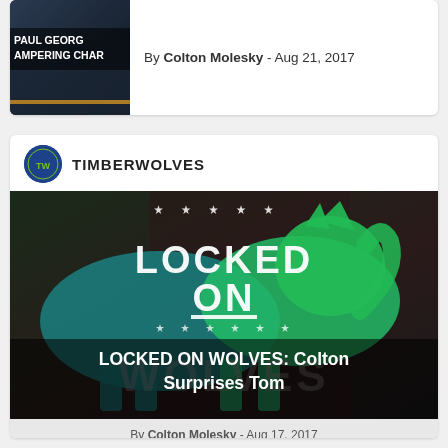By Colton Molesky - Aug 21, 2017
[Figure (photo): Article card image with text overlay 'PAUL GEORGE TAMPERING CHAR...']
TIMBERWOLVES
[Figure (photo): Locked On Wolves podcast logo image with wolf silhouette in teal and green, stars, text 'LOCKED ON WOLVES: Colton Surprises Tom']
By Colton Molesky - Aug 17, 2017